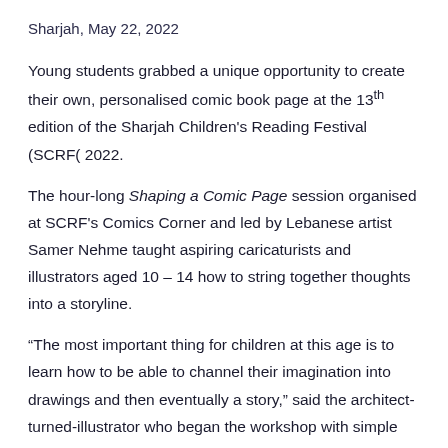Sharjah, May 22, 2022
Young students grabbed a unique opportunity to create their own, personalised comic book page at the 13th edition of the Sharjah Children's Reading Festival (SCRF( 2022.
The hour-long Shaping a Comic Page session organised at SCRF's Comics Corner and led by Lebanese artist Samer Nehme taught aspiring caricaturists and illustrators aged 10 – 14 how to string together thoughts into a storyline.
“The most important thing for children at this age is to learn how to be able to channel their imagination into drawings and then eventually a story,” said the architect-turned-illustrator who began the workshop with simple yet effective techniques of sketching characters.